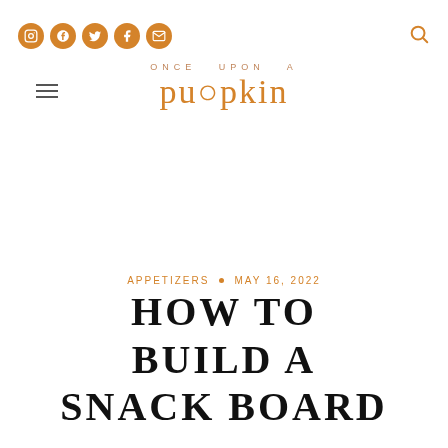Social icons: Instagram, TikTok, Twitter, Facebook, Email; Search icon
[Figure (logo): Once Upon A Pumpkin blog logo with orange text]
APPETIZERS • MAY 16, 2022
HOW TO BUILD A SNACK BOARD